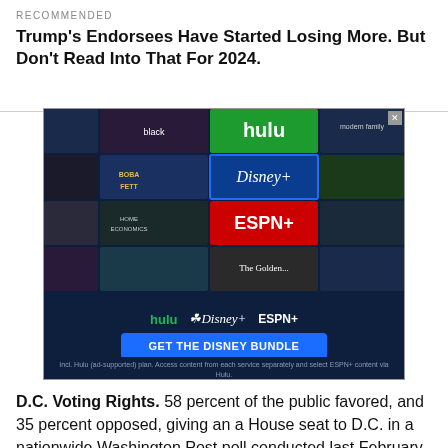RECOMMENDED
Trump's Endorsees Have Started Losing More. But Don't Read Into That For 2024.
[Figure (photo): Disney Bundle advertisement featuring Hulu, Disney+, and ESPN+ with a grid of streaming content thumbnails and a 'GET THE DISNEY BUNDLE' call-to-action button. Fine print reads: Incl. Hulu (ad-supported) plan. Access content from each service separately and select ESPN+ content via Hulu. Terms apply. © 2022 Disney and its related entities.]
D.C. Voting Rights. 58 percent of the public favored, and 35 percent opposed, giving an a House seat to D.C. in a nationwide Washington Post poll conducted last February. The Senate approved D.C. voting rights